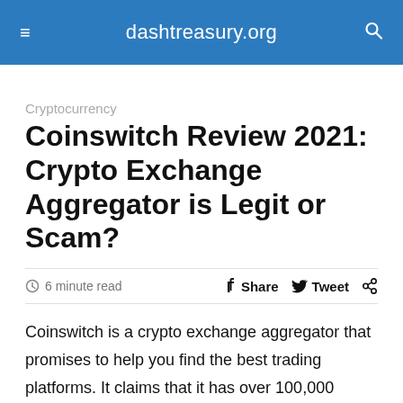dashtreasury.org
Cryptocurrency
Coinswitch Review 2021: Crypto Exchange Aggregator is Legit or Scam?
6 minute read   Share  Tweet
Coinswitch is a crypto exchange aggregator that promises to help you find the best trading platforms. It claims that it has over 100,000 users and has been featured on Forbes, Cointelegraph, Bitcoin Magazine, and more. Are they legit?